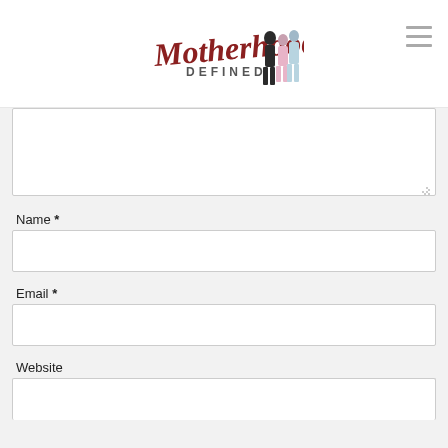[Figure (logo): Motherhood Defined logo with stylized cursive text and illustrated figures of women]
Name *
Email *
Website